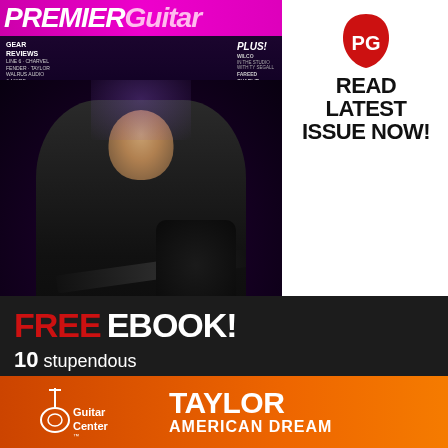[Figure (illustration): Premier Guitar magazine cover featuring a guitarist (Matt Bellamy of Muse) playing guitar on stage with text: NATURAL-BORN DISRUPTOR, MUSE'S MATT BELLAMY ON WILL OF THE PEOPLE. Gear Reviews: Line 6, Charvel, Fender, Taylor, Walrus Audio & More. PLUS! Wilco, In The Studio With Ty Segall, Fareed, Charlie Musselwhite.]
[Figure (logo): PG (Premier Guitar) logo - red pick shape with white PG text]
READ LATEST ISSUE NOW!
[Figure (infographic): Black banner with FREE EBOOK! text in red and white, followed by '10 stupendous' text]
[Figure (infographic): Guitar Center advertisement banner with orange gradient background showing Taylor American Dream text and Guitar Center logo]